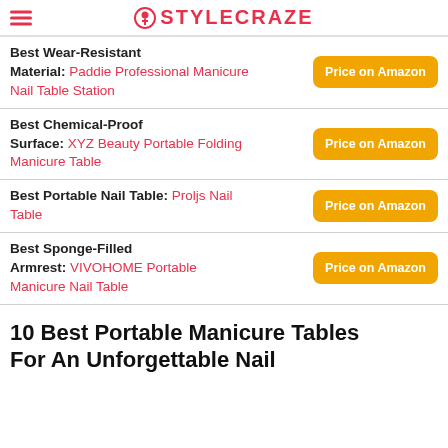STYLECRAZE
Best Wear-Resistant Material: Paddie Professional Manicure Nail Table Station
Best Chemical-Proof Surface: XYZ Beauty Portable Folding Manicure Table
Best Portable Nail Table: Proljs Nail Table
Best Sponge-Filled Armrest: VIVOHOME Portable Manicure Nail Table
10 Best Portable Manicure Tables For An Unforgettable Nail